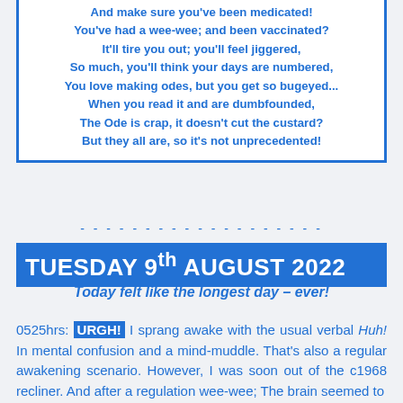And make sure you've been medicated!
You've had a wee-wee; and been vaccinated?
It'll tire you out; you'll feel jiggered,
So much, you'll think your days are numbered,
You love making odes, but you get so bugeyed...
When you read it and are dumbfounded,
The Ode is crap, it doesn't cut the custard?
But they all are, so it's not unprecedented!
TUESDAY 9th AUGUST 2022
Today felt like the longest day – ever!
0525hrs: URGH! I sprang awake with the usual verbal Huh! In mental confusion and a mind-muddle. That's also a regular awakening scenario. However, I was soon out of the c1968 recliner. And after a regulation wee-wee; The brain seemed to